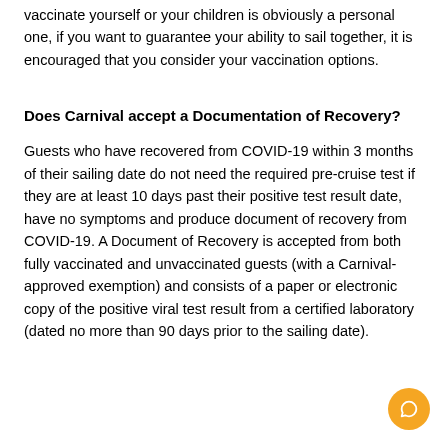vaccinate yourself or your children is obviously a personal one, if you want to guarantee your ability to sail together, it is encouraged that you consider your vaccination options.
Does Carnival accept a Documentation of Recovery?
Guests who have recovered from COVID-19 within 3 months of their sailing date do not need the required pre-cruise test if they are at least 10 days past their positive test result date, have no symptoms and produce document of recovery from COVID-19. A Document of Recovery is accepted from both fully vaccinated and unvaccinated guests (with a Carnival-approved exemption) and consists of a paper or electronic copy of the positive viral test result from a certified laboratory (dated no more than 90 days prior to the sailing date).